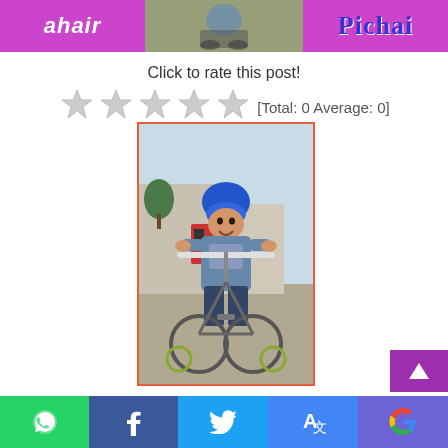ahair | [photo strip] | Pichai
Click to rate this post!
[Figure (other): Star rating widget showing 5 empty/outline stars with text [Total: 0 Average: 0]]
[Figure (photo): Young child wearing a blue helmet riding a small bicycle with training wheels in a parking lot, smiling at the camera. Buildings visible in the background.]
Social share bar: WhatsApp, Facebook, Twitter, Translate, Google